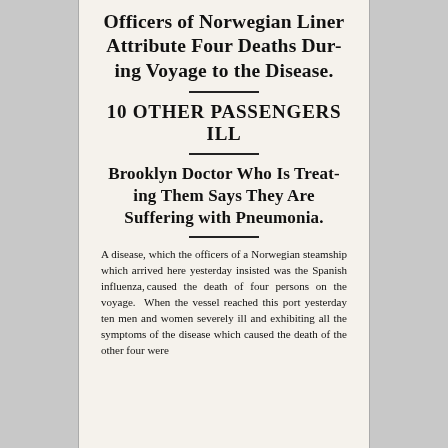Officers of Norwegian Liner Attribute Four Deaths During Voyage to the Disease.
10 OTHER PASSENGERS ILL
Brooklyn Doctor Who Is Treating Them Says They Are Suffering with Pneumonia.
A disease, which the officers of a Norwegian steamship which arrived here yesterday insisted was the Spanish influenza, caused the death of four persons on the voyage. When the vessel reached this port yesterday ten men and women severely ill and exhibiting all the symptoms of the disease which caused the death of the other four were